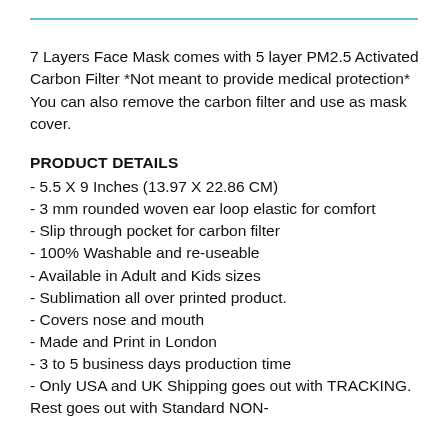7 Layers Face Mask comes with 5 layer PM2.5 Activated Carbon Filter *Not meant to provide medical protection* You can also remove the carbon filter and use as mask cover.
PRODUCT DETAILS
- 5.5 X 9 Inches (13.97 X 22.86 CM)
- 3 mm rounded woven ear loop elastic for comfort
- Slip through pocket for carbon filter
- 100% Washable and re-useable
- Available in Adult and Kids sizes
- Sublimation all over printed product.
- Covers nose and mouth
- Made and Print in London
- 3 to 5 business days production time
- Only USA and UK Shipping goes out with TRACKING. Rest goes out with Standard NON-